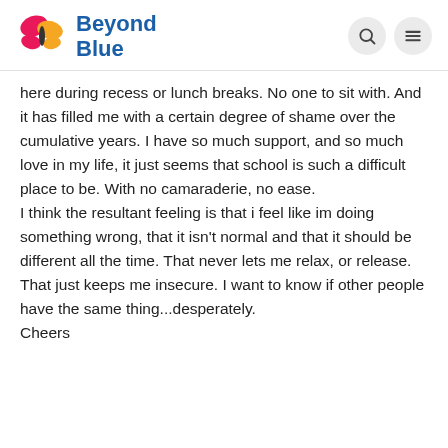Beyond Blue
here during recess or lunch breaks. No one to sit with. And it has filled me with a certain degree of shame over the cumulative years. I have so much support, and so much love in my life, it just seems that school is such a difficult place to be. With no camaraderie, no ease.
I think the resultant feeling is that i feel like im doing something wrong, that it isn't normal and that it should be different all the time. That never lets me relax, or release. That just keeps me insecure. I want to know if other people have the same thing...desperately.
Cheers